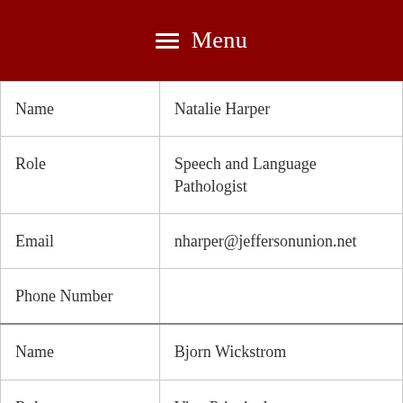Menu
| Name | Natalie Harper |
| Role | Speech and Language Pathologist |
| Email | nharper@jeffersonunion.net |
| Phone Number |  |
| Name | Bjorn Wickstrom |
| Role | Vice-Principal (9th & 10th grades) |